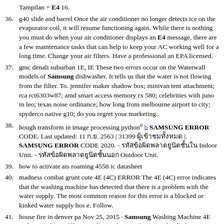Tampilan = E4 16.
36. g40 slide and barrel Once the air conditioner no longer detects ice on the evaporator coil, it will resume functioning again. While there is nothing you must do when your air conditioner displays an E4 message, there are a few maintenance tasks that can help to keep your AC working well for a long time. Change your air filters. Have a professional an EPA licensed.
37. gmc denali suburban 1E, IE These two errors occur on the Waterwall models of Samsung dishwasher. It tells us that the water is not flowing from the filter. To. jennifer maker shadow box; minivan tent attachment; rca rct6303w87; amd smart access memory rx 580; celebrities with juno in leo; texas noise ordinance; how long from melbourne airport to city; spyderco native g10; do you regret your marketing.
38. hough transform in image processing python^a b SAMSUNG ERROR CODE. Last updated: 11 ก.ย. 2563 | 31399 ผู้เข้าชมทั้งหมด |. SAMSUNG ERROR CODE 2020. - รหัสข้อผิดพลาดยูนิตชั้นใน Indoor Unit. - รหัสข้อผิดพลาดยูนิตชั้นนอก Outdoor Unit.
39. how to activate ais roaming 4558 ic datasheet
40. madness combat grunt cute 4E (4C) ERROR The 4E (4C) error indicates that the washing machine has detected that there is a problem with the water supply. The most common reason for this error is a blocked or kinked water supply hos e. Follow.
41. house fire in denver pa Nov 25, 2015 · Samsung Washing Machine 4E and E1 Fault Not filling in Allocated Time This tutorial will show you how to identify a filling fault on Samsung washing.